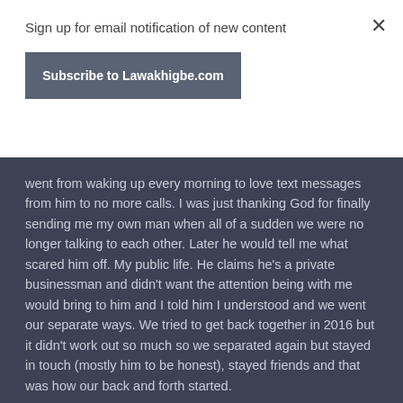Sign up for email notification of new content
Subscribe to Lawakhigbe.com
went from waking up every morning to love text messages from him to no more calls. I was just thanking God for finally sending me my own man when all of a sudden we were no longer talking to each other. Later he would tell me what scared him off. My public life. He claims he's a private businessman and didn't want the attention being with me would bring to him and I told him I understood and we went our separate ways. We tried to get back together in 2016 but it didn't work out so much so we separated again but stayed in touch (mostly him to be honest), stayed friends and that was how our back and forth started.